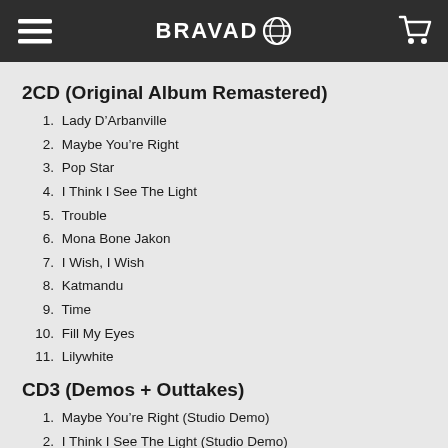BRAVADO
2CD (Original Album Remastered)
1. Lady D’Arbanville
2. Maybe You’re Right
3. Pop Star
4. I Think I See The Light
5. Trouble
6. Mona Bone Jakon
7. I Wish, I Wish
8. Katmandu
9. Time
10. Fill My Eyes
11. Lilywhite
CD3 (Demos + Outtakes)
1. Maybe You’re Right (Studio Demo)
2. I Think I See The Light (Studio Demo)
3. Trouble (Studio Demo)
4. Mona Bone Jakon (Home Demo)
5. I Wish, I Wish (Studio Demo)